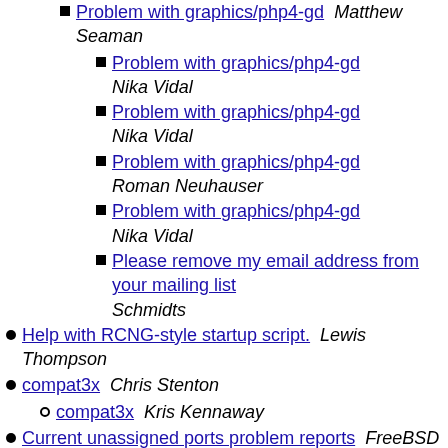Problem with graphics/php4-gd  Matthew Seaman
Problem with graphics/php4-gd  Nika Vidal
Problem with graphics/php4-gd  Nika Vidal
Problem with graphics/php4-gd  Roman Neuhauser
Problem with graphics/php4-gd  Nika Vidal
Please remove my email address from your mailing list  Schmidts
Help with RCNG-style startup script.  Lewis Thompson
compat3x  Chris Stenton
compat3x  Kris Kennaway
Current unassigned ports problem reports  FreeBSD bugmaster
Fw: Re: Drop of portindex  Miguel Mendez
/var/log/messages flooded with 'sql plugin' notices from